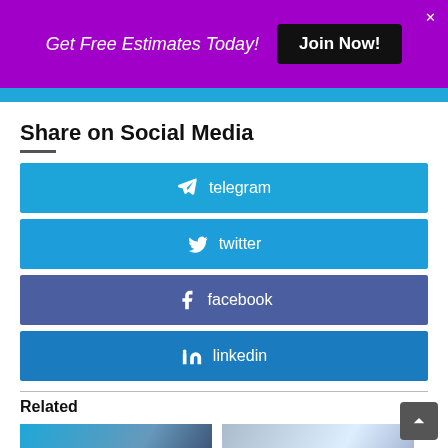Get Free Estimates Today! Join Now!
Share on Social Media
telegram
twitter
facebook
linkedin
Related